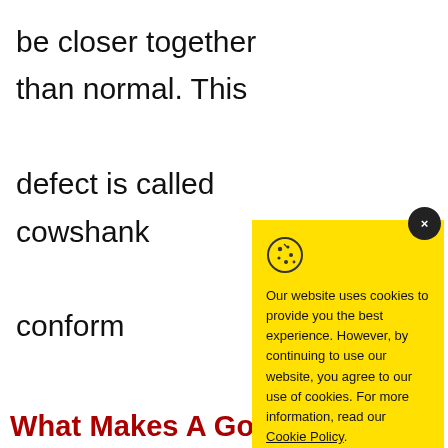be closer together than normal. This defect is called cowshank conform hind limb
READ A
Simula
[Figure (screenshot): Cookie consent popup with yellow background. Contains cookie icon, text: 'Our website uses cookies to provide you the best experience. However, by continuing to use our website, you agree to our use of cookies. For more information, read our Cookie Policy.' Accept button at bottom. Close button (X) in dark circle at top right.]
What Makes A Good Reining